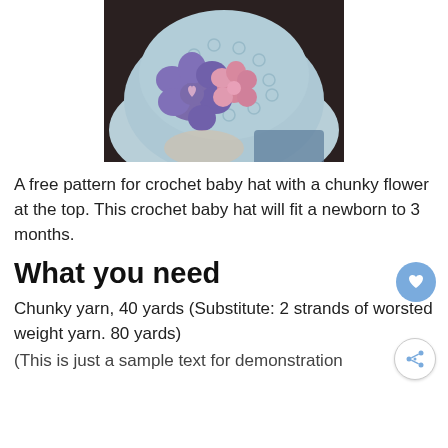[Figure (photo): A crocheted baby hat in light blue with a large purple flower and small pink flower on the side, featuring a pink heart button center. The hat is shown on a mannequin head.]
A free pattern for crochet baby hat with a chunky flower at the top. This crochet baby hat will fit a newborn to 3 months.
What you need
Chunky yarn, 40 yards (Substitute: 2 strands of worsted weight yarn. 80 yards)
(This is just a sample text for demonstration)